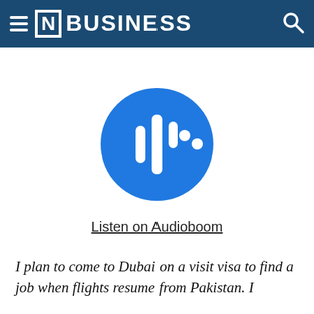[N] BUSINESS
[Figure (logo): Audioboom podcast logo: blue circle with white audio waveform bars of varying heights]
Listen on Audioboom
I plan to come to Dubai on a visit visa to find a job when flights resume from Pakistan. I